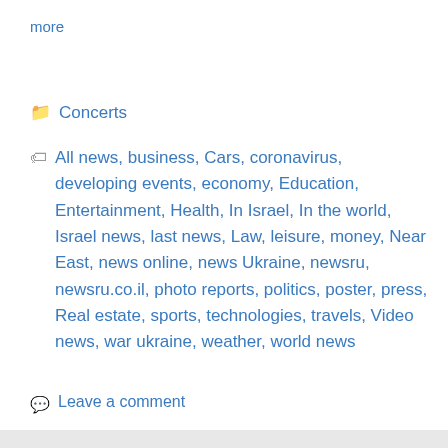more
Concerts
All news, business, Cars, coronavirus, developing events, economy, Education, Entertainment, Health, In Israel, In the world, Israel news, last news, Law, leisure, money, Near East, news online, news Ukraine, newsru, newsru.co.il, photo reports, politics, poster, press, Real estate, sports, technologies, travels, Video news, war ukraine, weather, world news
Leave a comment